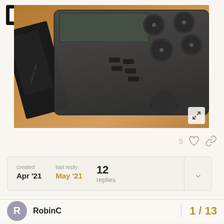[Figure (logo): Square bracket logo resembling a stylized letter E or display icon]
[Figure (photo): Close-up photo of a dark grey electronic music device (synthesizer/controller) with knobs and buttons on a wooden surface, with a black accessory partially visible on the left]
5 ♡ 🔗
| created | last reply | 12 replies |
| --- | --- | --- |
| Apr '21 | May '21 |  |
RobinC    1 / 13